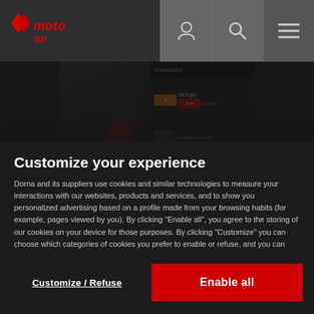MotoGP header navigation bar with logo, user icon, search icon, and menu icon
[Figure (screenshot): MotoGP app or website screenshot showing motorcycle racing standings with rider names, points, and position data on a dark background]
Customize your experience
Dorna and its suppliers use cookies and similar technologies to measure your interactions with our websites, products and services, and to show you personalized advertising based on a profile made from your browsing habits (for example, pages viewed by you). By clicking “Enable all”, you agree to the storing of our cookies on your device for those purposes. By clicking “Customize” you can choose which categories of cookies you prefer to enable or refuse, and you can also choose to refuse them all. You can always check our Cookies Policy for further information. Cookie Policy
Customize / Refuse
Enable all